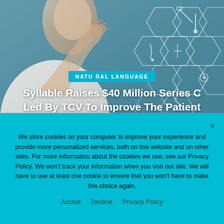[Figure (photo): Medical professional (person in white coat) reaching toward digital hexagonal interface with medical icons on a blue/teal background]
Syllable Raises $40 Million Series C Led By TCV To Improve The Patient Experience...
[Figure (photo): Thumbnail image for second article about Cloudli Communications]
Cloudli Communications Launches AI-Powered
We store cookies on your computer to improve your experience and provide more personalized services, both on this website and on other sites. For more information about the cookies we use, see our Privacy Policy. We won't track your information when you visit our site. We will have to use at least one cookie to ensure that you won't have to make this choice again.
Accept   Decline   Privacy Policy